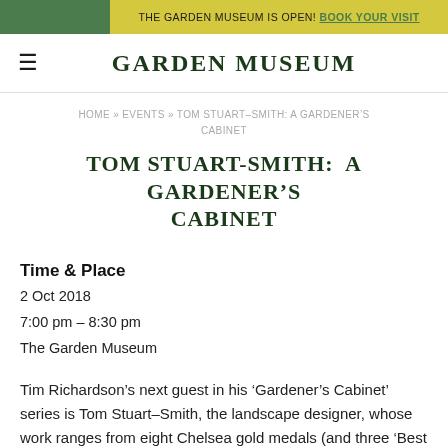THE GARDEN MUSEUM IS OPEN! BOOK YOUR VISIT
GARDEN MUSEUM
HOME » EVENTS » TOM STUART–SMITH: A GARDENER'S CABINET
TOM STUART-SMITH: A GARDENER'S CABINET
Time & Place
2 Oct 2018
7:00 pm – 8:30 pm
The Garden Museum
Tim Richardson's next guest in his 'Gardener's Cabinet' series is Tom Stuart–Smith, the landscape designer, whose work ranges from eight Chelsea gold medals (and three 'Best in Show') to the Jardin Secret